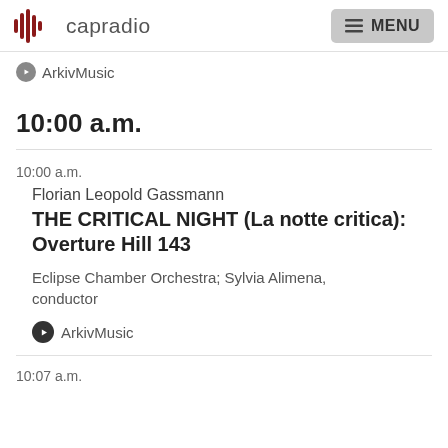capradio  MENU
ArkivMusic
10:00 a.m.
10:00 a.m.
Florian Leopold Gassmann
THE CRITICAL NIGHT (La notte critica): Overture Hill 143
Eclipse Chamber Orchestra; Sylvia Alimena, conductor
ArkivMusic
10:07 a.m.